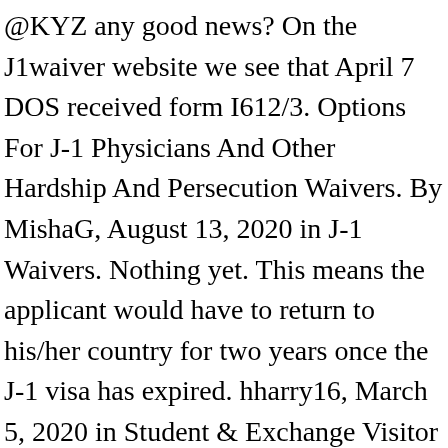@KYZ any good news? On the J1waiver website we see that April 7 DOS received form I612/3. Options For J-1 Physicians And Other Hardship And Persecution Waivers. By MishaG, August 13, 2020 in J-1 Waivers. Nothing yet. This means the applicant would have to return to his/her country for two years once the J-1 visa has expired. hharry16, March 5, 2020 in Student & Exchange Visitor Visas, That was so fast! Just an employee. I am hoping best for you, but may be try to figure out if USCIS mail containing your I612/I613 ever